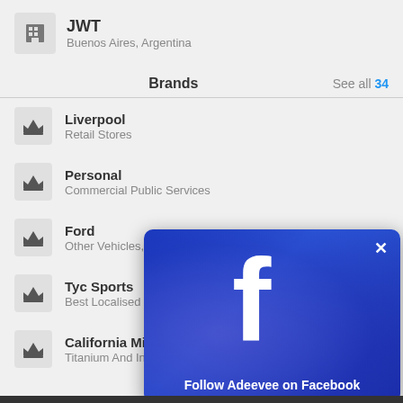JWT
Buenos Aires, Argentina
Brands  See all 34
Liverpool
Retail Stores
Personal
Commercial Public Services
Ford
Other Vehicles, Auto...
Tyc Sports
Best Localised Car
California Milk
Titanium And Inte
[Figure (screenshot): Facebook follow overlay popup with 'f' logo and text 'Follow Adeevee on Facebook' on a blue gradient background with a close (X) button]